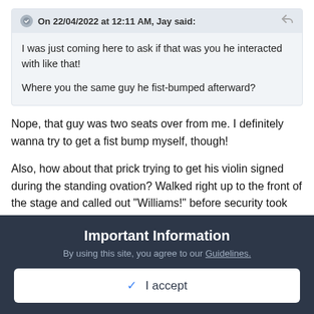On 22/04/2022 at 12:11 AM, Jay said:
I was just coming here to ask if that was you he interacted with like that!

Where you the same guy he fist-bumped afterward?
Nope, that guy was two seats over from me. I definitely wanna try to get a fist bump myself, though!
Also, how about that prick trying to get his violin signed during the standing ovation? Walked right up to the front of the stage and called out "Williams!" before security took him away and
Important Information
By using this site, you agree to our Guidelines.
✓ I accept